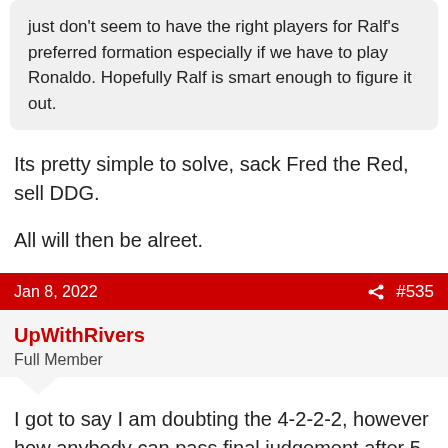just don't seem to have the right players for Ralf's preferred formation especially if we have to play Ronaldo. Hopefully Ralf is smart enough to figure it out.
Its pretty simple to solve, sack Fred the Red, sell DDG.
All will then be alreet.
Jan 8, 2022  #535
UpWithRivers
Full Member
I got to say I am doubting the 4-2-2-2, however how anybody can pass final judgement after 5 games is beyond me. On top if it he inherited a team thats just fkd. Nobody in form bar De Gea, loads of infighting, imbalanced, too big a squad, players wanting out and on and on. I mean whats he supposed to do